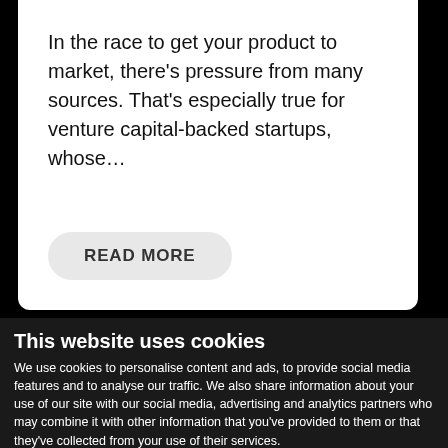In the race to get your product to market, there's pressure from many sources. That's especially true for venture capital-backed startups, whose...
READ MORE
This website uses cookies
We use cookies to personalise content and ads, to provide social media features and to analyse our traffic. We also share information about your use of our site with our social media, advertising and analytics partners who may combine it with other information that you've provided to them or that they've collected from your use of their services.
OK
Necessary  Preferences  Statistics  Marketing  Show details